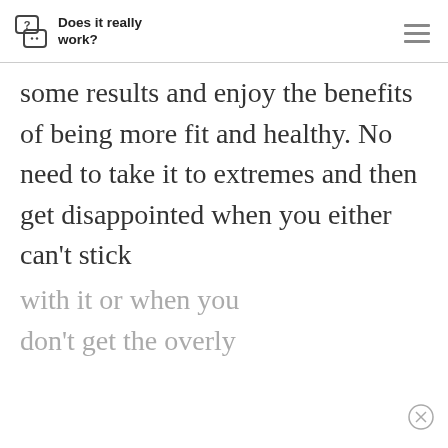Does it really work?
some results and enjoy the benefits of being more fit and healthy. No need to take it to extremes and then get disappointed when you either can't stick
with it or when you don't get the overly